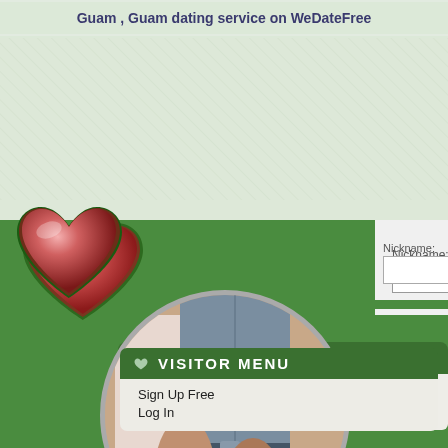Guam , Guam dating service on WeDateFree
[Figure (screenshot): Dating website screenshot showing heart logo, circular couple photo, login form with Nickname and Password fields, Visitor Menu with Sign Up Free and Log In links, Search text, and side navigation tabs for Join, Search, and ate (date)]
Nickname:
Password:
VISITOR MENU
Sign Up Free
Log In
Search
Join
Search
ate